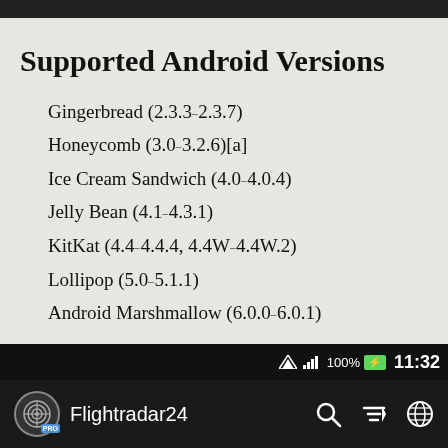Supported Android Versions
Gingerbread (2.3.3–2.3.7)
Honeycomb (3.0–3.2.6)[a]
Ice Cream Sandwich (4.0–4.0.4)
Jelly Bean (4.1–4.3.1)
KitKat (4.4–4.4.4, 4.4W–4.4W.2)
Lollipop (5.0–5.1.1)
Android Marshmallow (6.0.0–6.0.1)
Flightradar24 — 11:32 — 100%